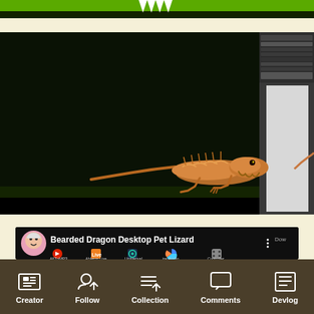[Figure (screenshot): Top section showing a bearded dragon desktop pet lizard on a dark screen with Windows taskbar icons (Vivaldi, Mail, Outlook, Teams, OneNote, Slack, Vivaldi, Photoshop) and a Photoshop panel on the right]
[Figure (screenshot): YouTube video player showing 'Bearded Dragon Desktop Pet Lizard' with channel avatar, title, more options button, and Download label. Below shows app icons: AllToMP3, Ableton Live 10 Lite, Universal, ire Audio, Controller Editor with a bearded dragon lizard visible and YouTube logo]
Creator  Follow  Collection  Comments  Devlog